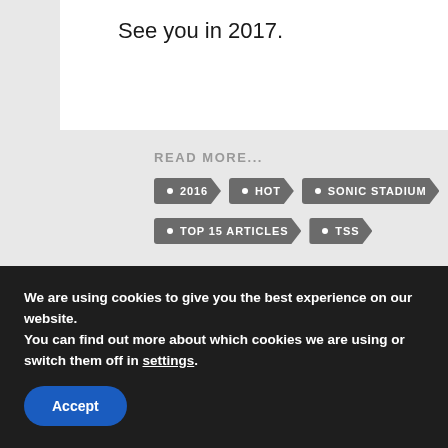See you in 2017.
READ MORE...
• 2016
• HOT
• SONIC STADIUM
• TOP 15 ARTICLES
• TSS
The Sonic Stadium may link to retailers and earn a small commission on purchases made from users who click those links. These links will only appear in articles
We are using cookies to give you the best experience on our website.
You can find out more about which cookies we are using or switch them off in settings.
Accept